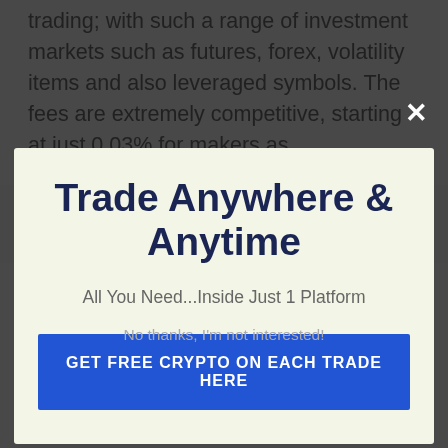trading; with such a range of investment markets such as futures, forex, volatility items and also leveraged symbols. The fees are extremely competitive, starting at just 0.03% for makers as
Trade Anywhere & Anytime
All You Need...Inside Just 1 Platform
GET FREE CRYPTO ON EACH TRADE HERE
No thanks, I'm not interested!
can use. The site just provides area trading; the regulations in the United States are much stricter, so no derivatives trading is